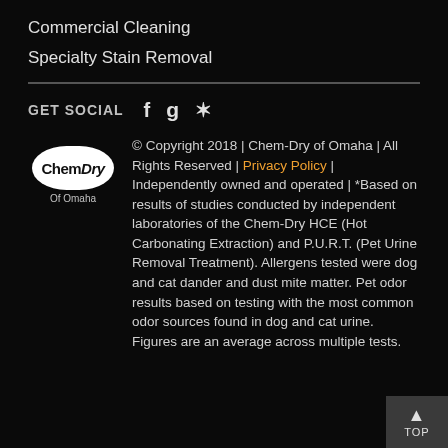Commercial Cleaning
Specialty Stain Removal
GET SOCIAL
[Figure (logo): Chem-Dry of Omaha oval logo with white background]
© Copyright 2018 | Chem-Dry of Omaha | All Rights Reserved | Privacy Policy | Independently owned and operated | *Based on results of studies conducted by independent laboratories of the Chem-Dry HCE (Hot Carbonating Extraction) and P.U.R.T. (Pet Urine Removal Treatment). Allergens tested were dog and cat dander and dust mite matter. Pet odor results based on testing with the most common odor sources found in dog and cat urine. Figures are an average across multiple tests.